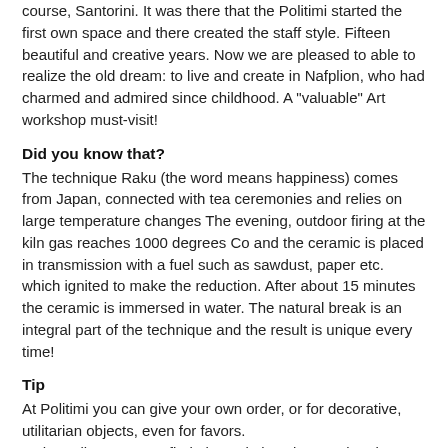course, Santorini. It was there that the Politimi started the first own space and there created the staff style. Fifteen beautiful and creative years. Now we are pleased to able to realize the old dream: to live and create in Nafplion, who had charmed and admired since childhood. A "valuable" Art workshop must-visit!
Did you know that?
The technique Raku (the word means happiness) comes from Japan, connected with tea ceremonies and relies on large temperature changes The evening, outdoor firing at the kiln gas reaches 1000 degrees Co and the ceramic is placed in transmission with a fuel such as sawdust, paper etc. which ignited to make the reduction. After about 15 minutes the ceramic is immersed in water. The natural break is an integral part of the technique and the result is unique every time!
Tip
At Politimi you can give your own order, or for decorative, utilitarian objects, even for favors.
In the gallery you can find also paintings by Greek artists.